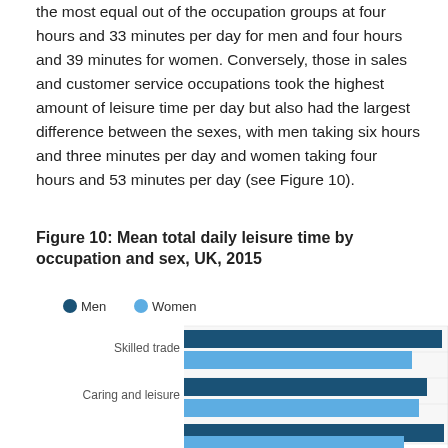the most equal out of the occupation groups at four hours and 33 minutes per day for men and four hours and 39 minutes for women. Conversely, those in sales and customer service occupations took the highest amount of leisure time per day but also had the largest difference between the sexes, with men taking six hours and three minutes per day and women taking four hours and 53 minutes per day (see Figure 10).
Figure 10: Mean total daily leisure time by occupation and sex, UK, 2015
[Figure (bar-chart): Mean total daily leisure time by occupation and sex, UK, 2015]